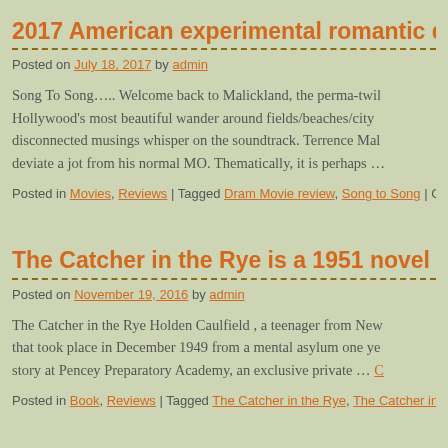2017 American experimental romantic dra
Posted on July 18, 2017 by admin
Song To Song….. Welcome back to Malickland, the perma-twil Hollywood's most beautiful wander around fields/beaches/city disconnected musings whisper on the soundtrack. Terrence Mal deviate a jot from his normal MO. Thematically, it is perhaps …
Posted in Movies, Reviews | Tagged Dram Movie review, Song to Song | Con
The Catcher in the Rye is a 1951 novel by
Posted on November 19, 2016 by admin
The Catcher in the Rye Holden Caulfield , a teenager from New that took place in December 1949 from a mental asylum one ye story at Pencey Preparatory Academy, an exclusive private … C
Posted in Book, Reviews | Tagged The Catcher in the Rye, The Catcher in th